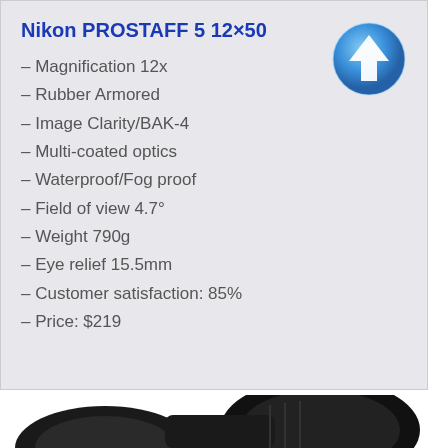Nikon PROSTAFF 5 12×50
– Magnification 12x
– Rubber Armored
– Image Clarity/BAK-4
– Multi-coated optics
– Waterproof/Fog proof
– Field of view 4.7°
– Weight 790g
– Eye relief 15.5mm
– Customer satisfaction: 85%
– Price: $219
[Figure (illustration): Nikon PROSTAFF 5 binoculars product photo, black rubber-armored binoculars shown from front angle, partially cropped at bottom of page]